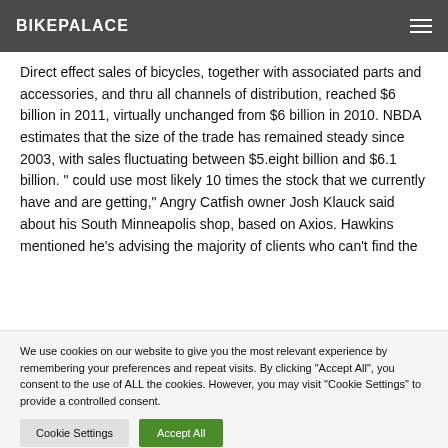BIKEPALACE
Direct effect sales of bicycles, together with associated parts and accessories, and thru all channels of distribution, reached $6 billion in 2011, virtually unchanged from $6 billion in 2010. NBDA estimates that the size of the trade has remained steady since 2003, with sales fluctuating between $5.eight billion and $6.1 billion. " could use most likely 10 times the stock that we currently have and are getting," Angry Catfish owner Josh Klauck said about his South Minneapolis shop, based on Axios. Hawkins mentioned he's advising the majority of clients who can't find the
We use cookies on our website to give you the most relevant experience by remembering your preferences and repeat visits. By clicking "Accept All", you consent to the use of ALL the cookies. However, you may visit "Cookie Settings" to provide a controlled consent.